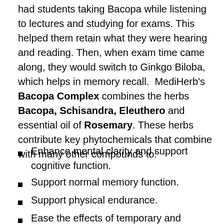had students taking Bacopa while listening to lectures and studying for exams. This helped them retain what they were hearing and reading. Then, when exam time came along, they would switch to Ginkgo Biloba, which helps in memory recall.  MediHerb's Bacopa Complex combines the herbs Bacopa, Schisandra, Eleuthero and essential oil of Rosemary. These herbs contribute key phytochemicals that combine with many other compounds to:
Enhance mental clarity and support cognitive function.
Support normal memory function.
Support physical endurance.
Ease the effects of temporary and occasional environmental stress.
Nourish the nervous system.